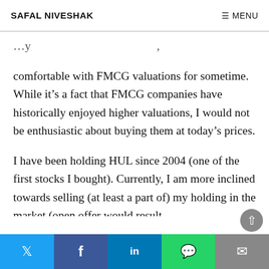SAFAL NIVESHAK   ≡ MENU
comfortable with FMCG valuations for sometime. While it's a fact that FMCG companies have historically enjoyed higher valuations, I would not be enthusiastic about buying them at today's prices.
I have been holding HUL since 2004 (one of the first stocks I bought). Currently, I am more inclined towards selling (at least a part of) my holding in the market (open offer would result